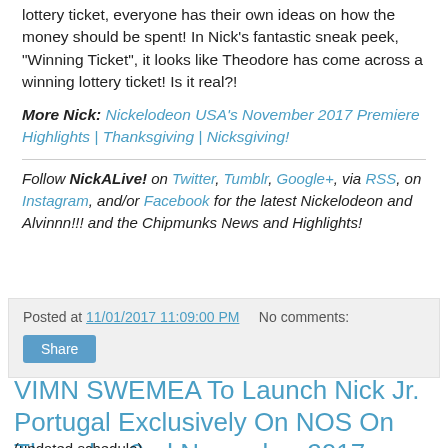lottery ticket, everyone has their own ideas on how the money should be spent! In Nick's fantastic sneak peek, "Winning Ticket", it looks like Theodore has come across a winning lottery ticket! Is it real?!
More Nick: Nickelodeon USA's November 2017 Premiere Highlights | Thanksgiving | Nicksgiving!
Follow NickALive! on Twitter, Tumblr, Google+, via RSS, on Instagram, and/or Facebook for the latest Nickelodeon and Alvinnn!!! and the Chipmunks News and Highlights!
Posted at 11/01/2017 11:09:00 PM   No comments:
Share
VIMN SWEMEA To Launch Nick Jr. Portugal Exclusively On NOS On Thursday 2nd November 2017
(updated schedule)